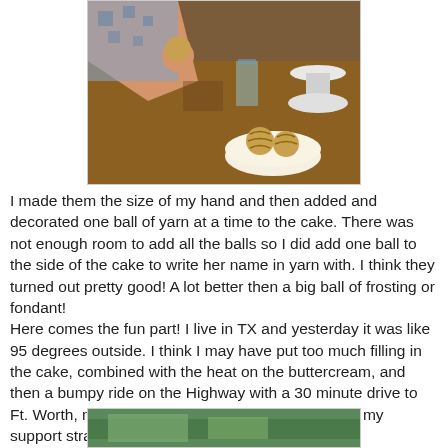[Figure (photo): People at a table rolling and decorating ball-shaped cake decorations to look like yarn balls, with a white cake stand and plate visible]
I made them the size of my hand and then added and decorated one ball of yarn at a time to the cake.  There was not enough room to add all the balls so I did add one ball to the side of the cake to write her name in yarn with.  I think they turned out pretty good!  A lot better then a big ball of frosting or fondant!
Here comes the fun part!  I live in TX and yesterday it was like 95 degrees outside.  I think I may have put too much filling in the cake, combined with the heat on the buttercream, and then a bumpy ride on the Highway with a 30 minute drive to Ft. Worth, my cake separated right where I had put my support straw to keep it from moving!
[Figure (photo): Partial photo at the bottom of the page showing what appears to be a car or vehicle interior/exterior, green color visible]